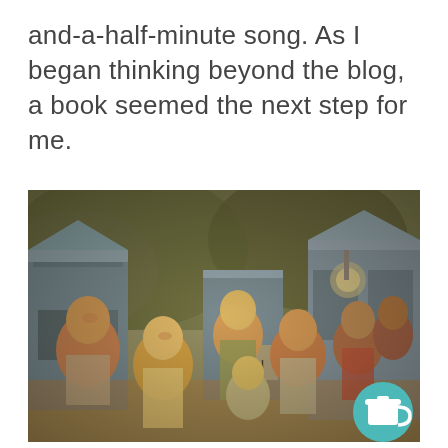and-a-half-minute song. As I began thinking beyond the blog, a book seemed the next step for me.
[Figure (photo): Vintage color photograph of a group of children posing playfully outdoors near blue-painted structures or booths, smiling and making gestures. A coffee cup icon badge is overlaid in the bottom-right corner.]